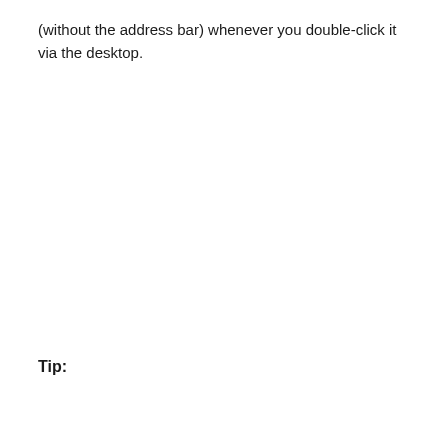(without the address bar) whenever you double-click it via the desktop.
Tip: